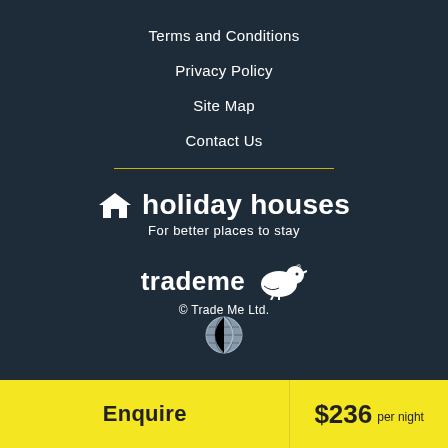Terms and Conditions
Privacy Policy
Site Map
Contact Us
[Figure (logo): Holiday Houses logo with house icon and text 'holiday houses', tagline 'For better places to stay']
[Figure (logo): Trade Me logo with kiwi bird icon and copyright '© Trade Me Ltd.']
[Figure (logo): Globe/language selector icon]
Enquire
$236 per night